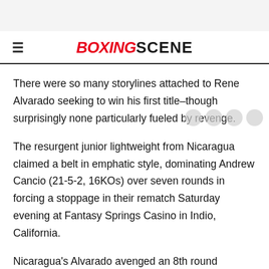BOXINGSCENE
There were so many storylines attached to Rene Alvarado seeking to win his first title–though surprisingly none particularly fueled by revenge.
The resurgent junior lightweight from Nicaragua claimed a belt in emphatic style, dominating Andrew Cancio (21-5-2, 16KOs) over seven rounds in forcing a stoppage in their rematch Saturday evening at Fantasy Springs Casino in Indio, California.
Nicaragua's Alvarado avenged an 8th round stoppage